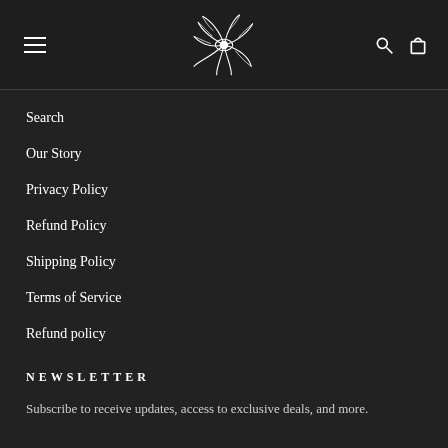[Navigation header with logo, hamburger menu, search and cart icons]
Search
Our Story
Privacy Policy
Refund Policy
Shipping Policy
Terms of Service
Refund policy
NEWSLETTER
Subscribe to receive updates, access to exclusive deals, and more.